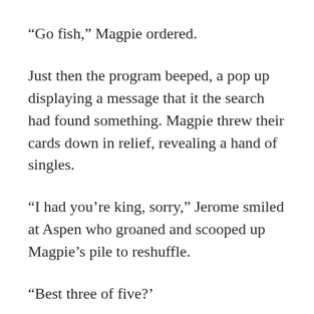“Go fish,” Magpie ordered.
Just then the program beeped, a pop up displaying a message that it the search had found something. Magpie threw their cards down in relief, revealing a hand of singles.
“I had you’re king, sorry,” Jerome smiled at Aspen who groaned and scooped up Magpie’s pile to reshuffle.
“Best three of five?’
Behind them, Harm was pulling up what the program had found.
“Huh, it says it from a public security